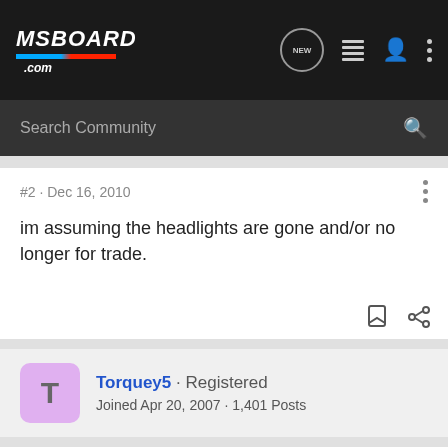MSBOARD.com
Search Community
#2 · Dec 16, 2010
im assuming the headlights are gone and/or no longer for trade.
Torquey5 · Registered
Joined Apr 20, 2007 · 1,401 Posts
Discussion Starter · #3 · Dec 16, 2010 (Edited)